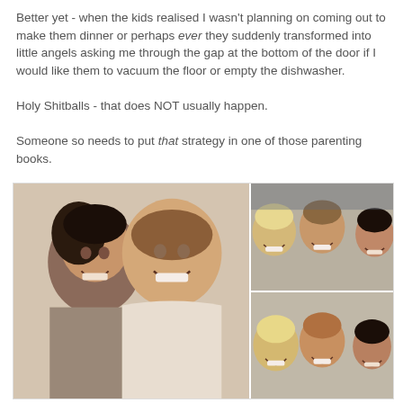Better yet - when the kids realised I wasn't planning on coming out to make them dinner or perhaps ever they suddenly transformed into little angels asking me through the gap at the bottom of the door if I would like them to vacuum the floor or empty the dishwasher.

Holy Shitballs - that does NOT usually happen.

Someone so needs to put that strategy in one of those parenting books.
[Figure (photo): Collage of photos showing groups of smiling women taking selfies. Left large photo shows two women close-up smiling. Top right shows three women smiling together. Bottom right shows three women smiling together.]